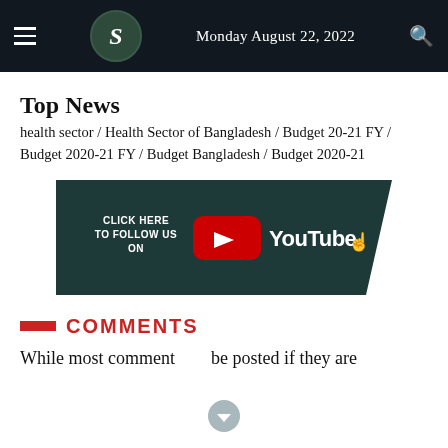Monday August 22, 2022
Top News
health sector / Health Sector of Bangladesh / Budget 20-21 FY / Budget 2020-21 FY / Budget Bangladesh / Budget 2020-21
[Figure (other): YouTube follow banner with teal background, text CLICK HERE TO FOLLOW US ON with YouTube logo and pointing hand icon]
COMMENTS
While most comment be posted if they are